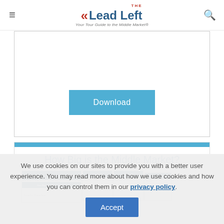THE Lead Left — Your Tour Guide to the Middle Market®
[Figure (screenshot): Download button inside a white bordered form area]
[Figure (screenshot): Section card with blue top bar, title 'How Big is the Middle Market?' and document thumbnails showing The Lead Left and Churchill Asset Management report covers]
We use cookies on our sites to provide you with a better user experience. You may read more about how we use cookies and how you can control them in our privacy policy.